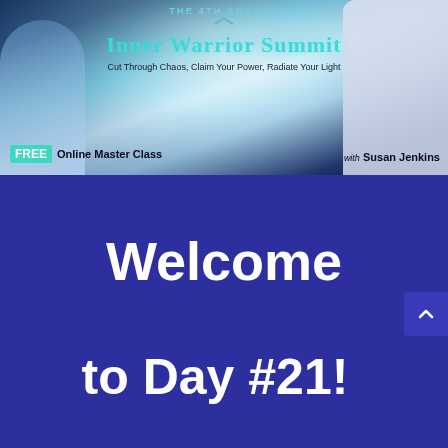[Figure (illustration): Banner for The 4th Annual Inner Warrior Summit with mystical background, glowing light rays, birds, and a woman sitting on right side. Text reads: The 4th Annual Inner Warrior Summit, Cut Through Chaos, Claim Your Power, Radiate Your Light. FREE Online Master Class with Susan Jenkins.]
Welcome
to Day #21!